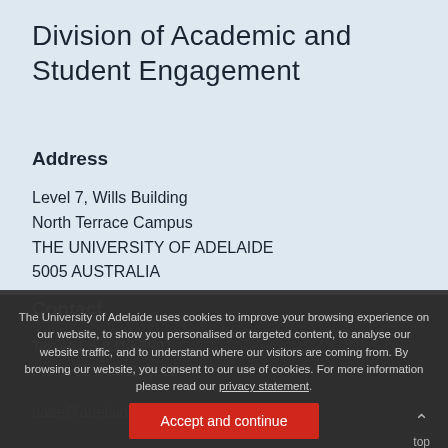Division of Academic and Student Engagement
Address
Level 7, Wills Building
North Terrace Campus
THE UNIVERSITY OF ADELAIDE
5005 AUSTRALIA
Contact
Tel: +61 8 8313 5901
Fax: +61 8 8313 8222
dase@adelaide.edu.au
The University of Adelaide uses cookies to improve your browsing experience on our website, to show you personalised or targeted content, to analyse our website traffic, and to understand where our visitors are coming from. By browsing our website, you consent to our use of cookies. For more information please read our privacy statement.
Accept and continue